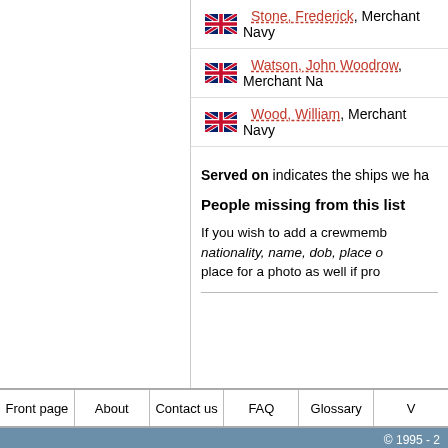Stone, Frederick, Merchant Navy
Watson, John Woodrow, Merchant Navy
Wood, William, Merchant Navy
Served on indicates the ships we ha...
People missing from this list
If you wish to add a crewmember, nationality, name, dob, place o... place for a photo as well if pro...
Front page | About | Contact us | FAQ | Glossary | ...
© 1995 - 2...